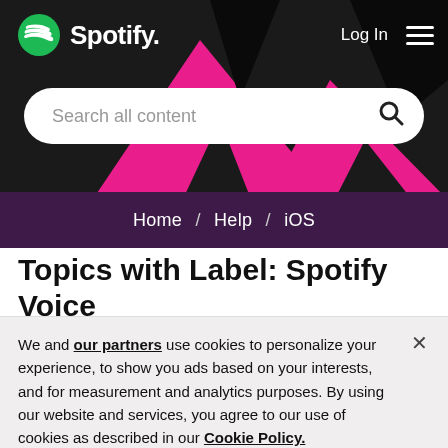[Figure (screenshot): Spotify website header with logo, Log In button, hamburger menu, pink and black geometric background, search bar with 'Search all content' placeholder, and breadcrumb navigation showing Home / Help / iOS]
Topics with Label: Spotify Voice
We and our partners use cookies to personalize your experience, to show you ads based on your interests, and for measurement and analytics purposes. By using our website and services, you agree to our use of cookies as described in our Cookie Policy.